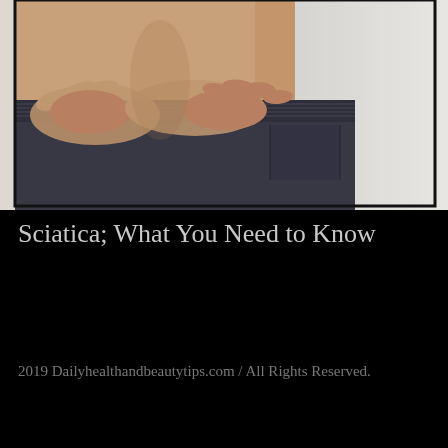[Figure (photo): A person holding their lower back with both hands, wearing dark athletic shorts, viewed from behind/side against a light gray background. The image depicts back pain associated with sciatica.]
Sciatica; What You Need to Know
2019 Dailyhealthandbeautytips.com / All Rights Reserved.